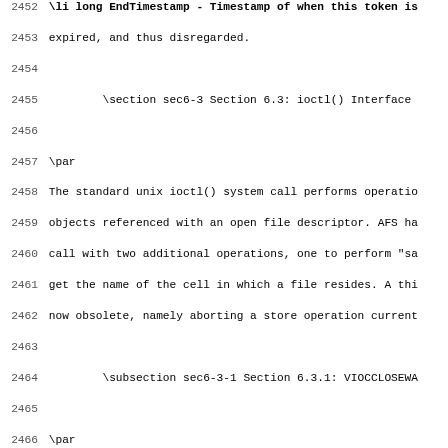Source code listing lines 2452-2483
2452 \li long EndTimestamp - Timestamp of when this token is
2453 expired, and thus disregarded.
2454
2455         \section sec6-3 Section 6.3: ioctl() Interface
2456
2457 \par
2458 The standard unix ioctl() system call performs operatio
2459 objects referenced with an open file descriptor. AFS ha
2460 call with two additional operations, one to perform "sa
2461 get the name of the cell in which a file resides. A thi
2462 now obsolete, namely aborting a store operation current
2463
2464         \subsection sec6-3-1 Section 6.3.1: VIOCCLOSEWA
2465
2466 \par
2467 [Opcode 1] Normally, a client performing a unix close()
2468 resumes once the store operation on the given file data
2469 has commenced but before it has completed. Thus, it is
2470 could actually fail (say, because of network partition
2471 without the client's knowledge. This new ioctl opcode s
2472 Manager that all future close() operations will wait ur
2473 operation to the File Server has completed fully before
2474
2475         \subsection sec6-3-2 Section 6.3.2: VIOCABORT
2476
2477 \par
2478 [Opcode 2] This ioctl() extension is now obsolete. This
2479 The original intention of this call was to allow a stor
2480 progress to a File Server on the named fid to be aborte
2481
2482         \subsection sec6-3-3 Section 6.3.3: VIOIGETCELL
2483